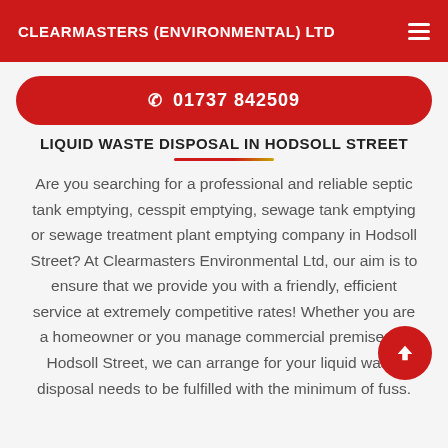CLEARMASTERS (ENVIRONMENTAL) LTD
01737 842509
LIQUID WASTE DISPOSAL IN HODSOLL STREET
Are you searching for a professional and reliable septic tank emptying, cesspit emptying, sewage tank emptying or sewage treatment plant emptying company in Hodsoll Street? At Clearmasters Environmental Ltd, our aim is to ensure that we provide you with a friendly, efficient service at extremely competitive rates! Whether you are a homeowner or you manage commercial premises in Hodsoll Street, we can arrange for your liquid waste disposal needs to be fulfilled with the minimum of fuss.